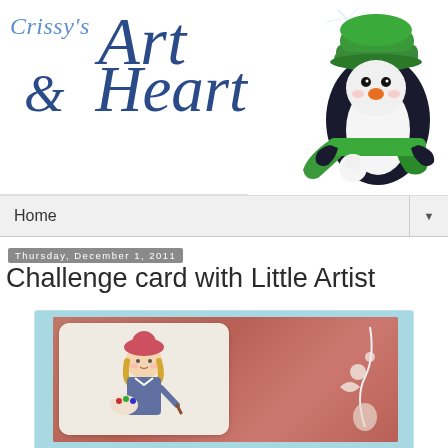[Figure (illustration): Blog header banner for 'Crissy's Art & Heart' blog with decorative script text in blue and a cartoon penguin wearing a green hat and scarf on the right side]
Home
Thursday, December 1, 2011
Challenge card with Little Artist
[Figure (photo): A handmade greeting card featuring a little girl artist with a pink beret, holding a paintbrush, set against a pink background with floral decorations, mounted on a light blue card base]